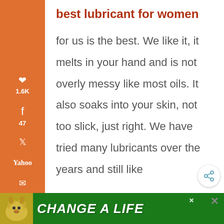best lubricant for women
for us is the best. We like it, it melts in your hand and is not overly messy like most oils. It also soaks into your skin, not too slick, just right. We have tried many lubricants over the years and still like
[Figure (infographic): Left sidebar with social sharing icons: Pinterest (1.6K), Facebook (47), Twitter, Yahoo, Email, Print. Bottom shows 1.6K SHARES.]
[Figure (infographic): Floating share button (circle with share icon) on right side]
[Figure (infographic): Green advertisement banner at bottom reading CHANGE A LIFE with a dog image]